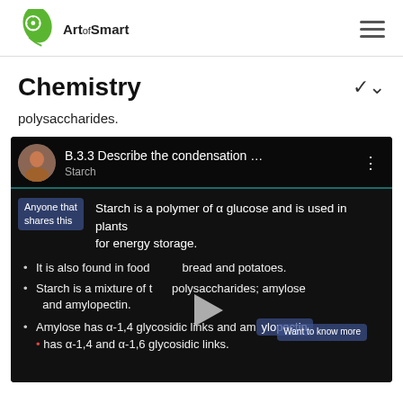Art of Smart
Chemistry
polysaccharides.
[Figure (screenshot): Embedded YouTube video screenshot showing 'B.3.3 Describe the condensation ...' with subtitle 'Starch'. Video content shows text: 'Starch is a polymer of α glucose and is used in plants for energy storage. It is also found in foods such as bread and potatoes. Starch is a mixture of two polysaccharides; amylose and amylopectin. Amylose has α-1,4 glycosidic links and amylopectin has α-1,4 and α-1,6 glycosidic links.' A play button is visible in the center.]